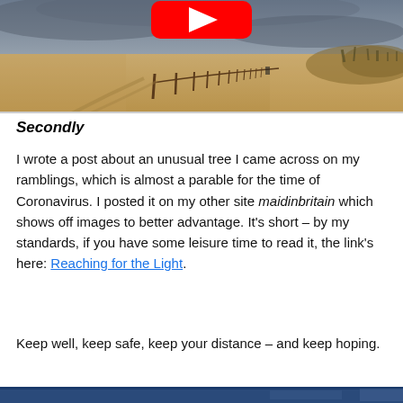[Figure (photo): A sandy beach with a wooden fence/posts running diagonally into the distance, with sandy dunes and an overcast sky. A YouTube play button icon (red and white) is partially visible at the top center.]
Secondly
I wrote a post about an unusual tree I came across on my ramblings, which is almost a parable for the time of Coronavirus. I posted it on my other site maidinbritain which shows off images to better advantage. It's short – by my standards, if you have some leisure time to read it, the link's here: Reaching for the Light.
Keep well, keep safe, keep your distance – and keep hoping.
[Figure (photo): Bottom strip of another image, partially visible — appears to be a blue-toned landscape or seascape photo.]